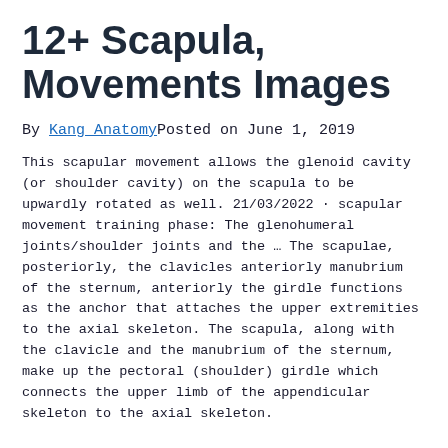12+ Scapula, Movements Images
By Kang Anatomy Posted on June 1, 2019
This scapular movement allows the glenoid cavity (or shoulder cavity) on the scapula to be upwardly rotated as well. 21/03/2022 · scapular movement training phase: The glenohumeral joints/shoulder joints and the … The scapulae, posteriorly, the clavicles anteriorly manubrium of the sternum, anteriorly the girdle functions as the anchor that attaches the upper extremities to the axial skeleton. The scapula, along with the clavicle and the manubrium of the sternum, make up the pectoral (shoulder) girdle which connects the upper limb of the appendicular skeleton to the axial skeleton.